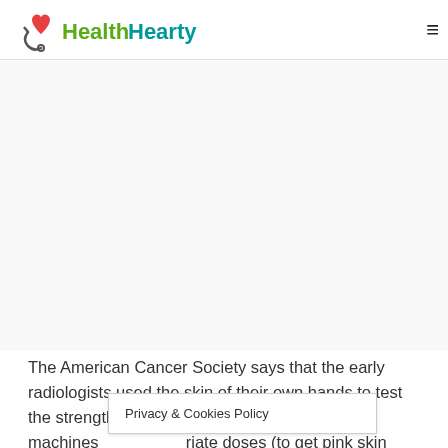[Figure (logo): HealthHearty logo with red heart and stethoscope icon, green and teal text]
[Figure (other): Advertisement or image placeholder area (blank/gray)]
The American Cancer Society says that the early radiologists used the skin of their own hands to test the strength of radiation from the radiotherapy machines [appropriate doses (to get pink skin as to be the right
Privacy & Cookies Policy